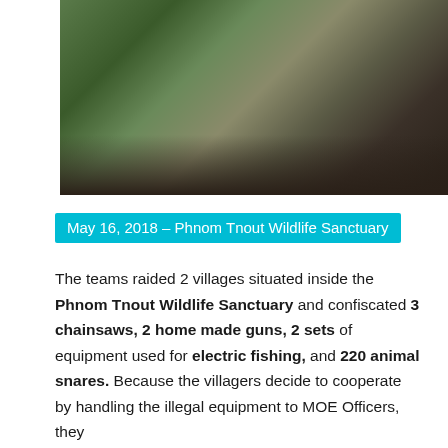[Figure (photo): Group of people including rangers/officers and a villager in an outdoor forest setting, standing near a fallen log. Some are in camouflage uniforms, others in civilian clothes.]
May 16, 2018 – Phnom Tnout Wildlife Sanctuary
The teams raided 2 villages situated inside the Phnom Tnout Wildlife Sanctuary and confiscated 3 chainsaws, 2 home made guns, 2 sets of equipment used for electric fishing, and 220 animal snares. Because the villagers decide to cooperate by handling the illegal equipment to MOE Officers, they